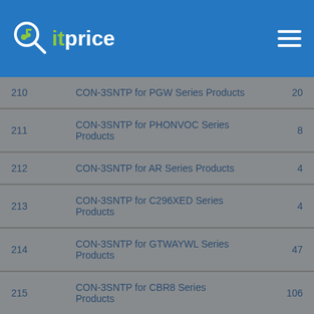itprice
| # | Description | Count |
| --- | --- | --- |
| 210 | CON-3SNTP for PGW Series Products | 20 |
| 211 | CON-3SNTP for PHONVOC Series Products | 8 |
| 212 | CON-3SNTP for AR Series Products | 4 |
| 213 | CON-3SNTP for C296XED Series Products | 4 |
| 214 | CON-3SNTP for GTWAYWL Series Products | 47 |
| 215 | CON-3SNTP for CBR8 Series Products | 106 |
| 216 | CON-3SNTP for BWCPE Series Products | 4 |
| 217 | CON-3SNTP for AIR110U Series Products | 32 |